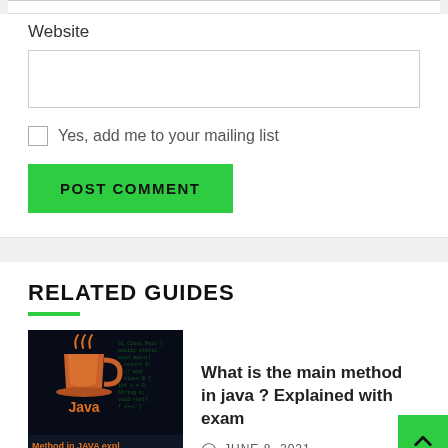Website
Yes, add me to your mailing list
POST COMMENT
RELATED GUIDES
[Figure (photo): Dark background image with Java logo (coffee cup with steam) and text 'Java' and 'Method in JAVA expl' at the bottom]
What is the main method in java ? Explained with exam
JUNE 8, 2021